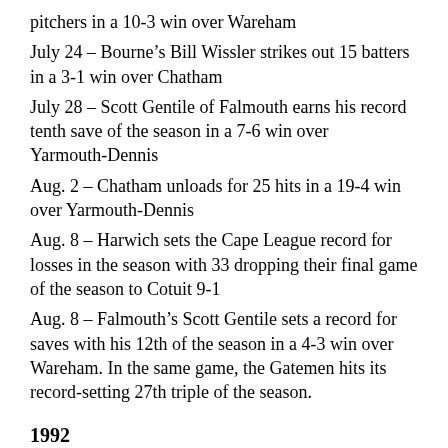pitchers in a 10-3 win over Wareham
July 24 – Bourne's Bill Wissler strikes out 15 batters in a 3-1 win over Chatham
July 28 – Scott Gentile of Falmouth earns his record tenth save of the season in a 7-6 win over Yarmouth-Dennis
Aug. 2 – Chatham unloads for 25 hits in a 19-4 win over Yarmouth-Dennis
Aug. 8 – Harwich sets the Cape League record for losses in the season with 33 dropping their final game of the season to Cotuit 9-1
Aug. 8 – Falmouth's Scott Gentile sets a record for saves with his 12th of the season in a 4-3 win over Wareham. In the same game, the Gatemen hits its record-setting 27th triple of the season.
1992
June 12 – Judy Walden Scarafile takes over as the first-